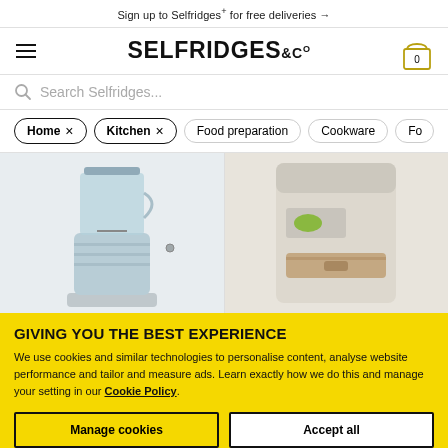Sign up to Selfridges+ for free deliveries →
[Figure (logo): Selfridges & Co logo with hamburger menu on left and shopping cart icon (showing 0 items) on right]
Search Selfridges...
Home ×
Kitchen ×
Food preparation
Cookware
Fo...
[Figure (photo): Two kitchen appliances side by side: left shows a light blue SMEG blender, right shows a beige/cream food processor or similar appliance]
GIVING YOU THE BEST EXPERIENCE
We use cookies and similar technologies to personalise content, analyse website performance and tailor and measure ads. Learn exactly how we do this and manage your setting in our Cookie Policy.
Manage cookies
Accept all